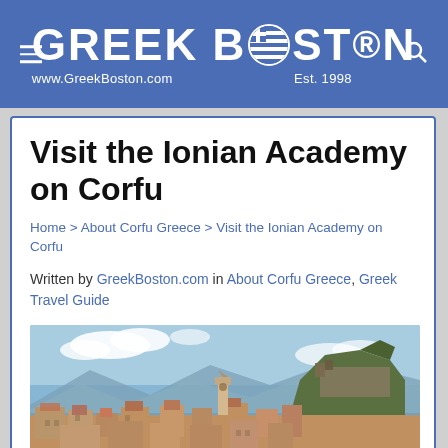GREEK BOSTON® www.GreekBoston.com Est. 1998
Visit the Ionian Academy on Corfu
Home > About Corfu Greece > Visit the Ionian Academy on Corfu
Written by GreekBoston.com in About Corfu Greece, Greek Travel Guide
[Figure (photo): Panoramic view of Corfu town with terracotta rooftops, a church bell tower, rocky hilltop fortress, and blue sea and mountains in the background under a partly cloudy sky]